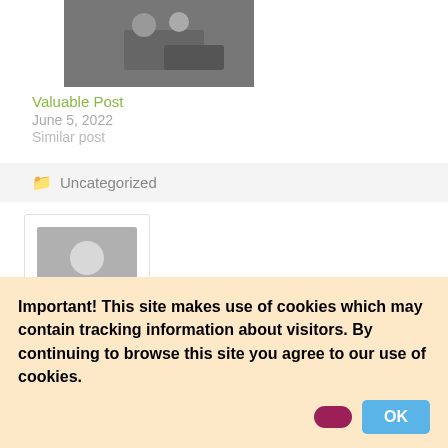[Figure (photo): Business meeting photo showing people at a desk with a laptop]
Valuable Post
June 5, 2022
Similar post
📁 Uncategorized
[Figure (photo): Generic user avatar placeholder with grey silhouette]
Important! This site makes use of cookies which may contain tracking information about visitors. By continuing to browse this site you agree to our use of cookies.